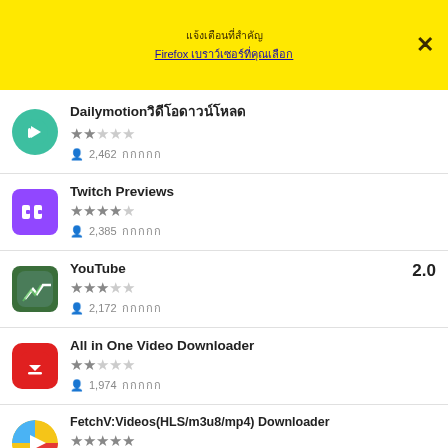แจ้งเตือนที่สำคัญ
Firebox เบราว์เซอร์ที่คุณเลือก ×
Dailymotionวิดีโอดาวน์โหลด ★★☆☆☆ 2,462 ผู้ใช้
Twitch Previews ★★★★½ 2,385 ผู้ใช้
YouTube 2.0 ★★★☆☆ 2,172 ผู้ใช้
All in One Video Downloader ★★½☆☆ 1,974 ผู้ใช้
FetchV:Videos(HLS/m3u8/mp4) Downloader ★★★★★ 1,750 ผู้ใช้